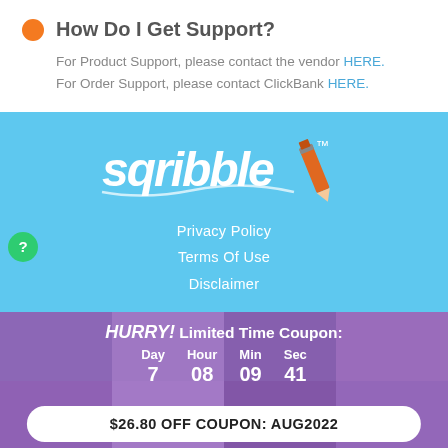How Do I Get Support?
For Product Support, please contact the vendor HERE.
For Order Support, please contact ClickBank HERE.
[Figure (logo): Sqribble logo with pencil icon on light blue background]
Privacy Policy
Terms Of Use
Disclaimer
HURRY! Limited Time Coupon:
Day 7  Hour 08  Min 09  Sec 41
$26.80 OFF COUPON: AUG2022